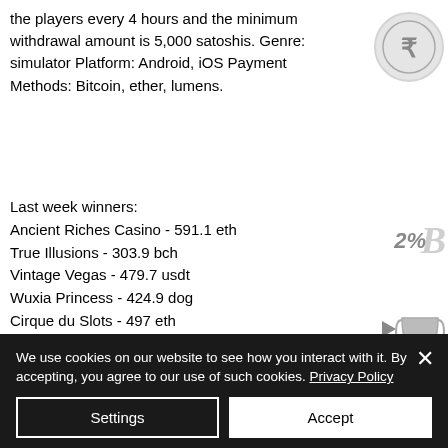the players every 4 hours and the minimum withdrawal amount is 5,000 satoshis. Genre: simulator Platform: Android, iOS Payment Methods: Bitcoin, ether, lumens.
Last week winners:
Ancient Riches Casino - 591.1 eth
True Illusions - 303.9 bch
Vintage Vegas - 479.7 usdt
Wuxia Princess - 424.9 dog
Cirque du Slots - 497 eth
Batman and Catwoman Cash - 496.8 usdt
Golden Lamp - 400.4 btc
Easter Eggs - 580.8 bch
We use cookies on our website to see how you interact with it. By accepting, you agree to our use of such cookies. Privacy Policy